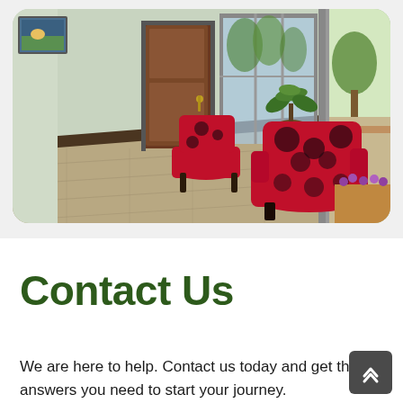[Figure (photo): Interior lobby or waiting room with hardwood floors, two red floral-patterned chairs, a brown door, potted plant, large windows, and a framed picture on the wall.]
Contact Us
We are here to help. Contact us today and get the answers you need to start your journey.